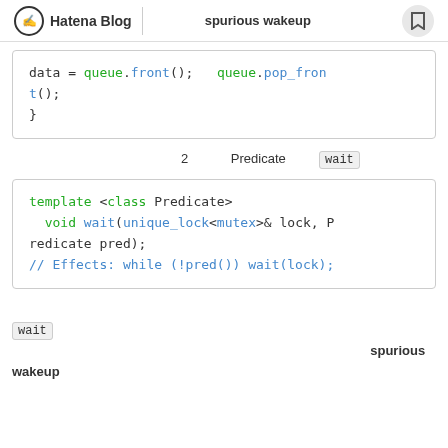Hatena Blog | ␣␣␣␣␣spurious wakeup
data = queue.front();  queue.pop_front();
}
□□□□□□□□□□□□□□□2□□□ Predicate □□□ wait □□□□□□□□□□□□□□□□□□□□
template <class Predicate>
  void wait(unique_lock<mutex>& lock, Predicate pred);
// Effects: while (!pred()) wait(lock);
□□□□□□□□□□□□□□□□□□□□□□□□□□□□□□□□□□□□□□□□□□□□□□□ wait □□□□□
□□□□□□□□□□□□□□□□□ □□□□□□□□□□□ spurious wakeup □□□□□□□□□□